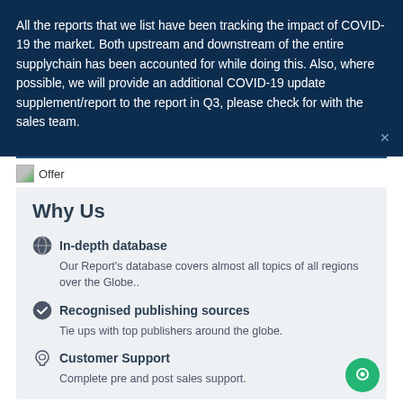All the reports that we list have been tracking the impact of COVID-19 the market. Both upstream and downstream of the entire supplychain has been accounted for while doing this. Also, where possible, we will provide an additional COVID-19 update supplement/report to the report in Q3, please check for with the sales team.
[Figure (other): Offer label with broken image icon and text 'Offer']
Why Us
In-depth database - Our Report's database covers almost all topics of all regions over the Globe..
Recognised publishing sources - Tie ups with top publishers around the globe.
Customer Support - Complete pre and post sales support.